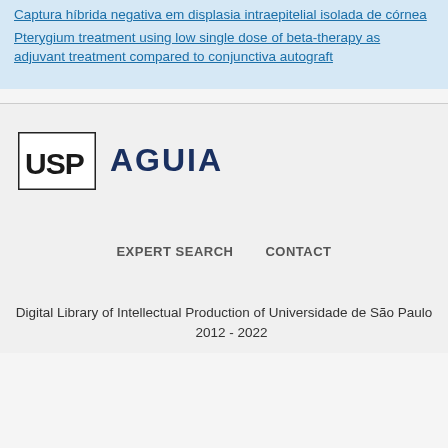Captura híbrida negativa em displasia intraepitelial isolada de córnea
Pterygium treatment using low single dose of beta-therapy as adjuvant treatment compared to conjunctiva autograft
[Figure (logo): USP AGUIA logo with USP text in a box and AGUIA in dark blue bold text]
EXPERT SEARCH    CONTACT
Digital Library of Intellectual Production of Universidade de São Paulo    2012 - 2022